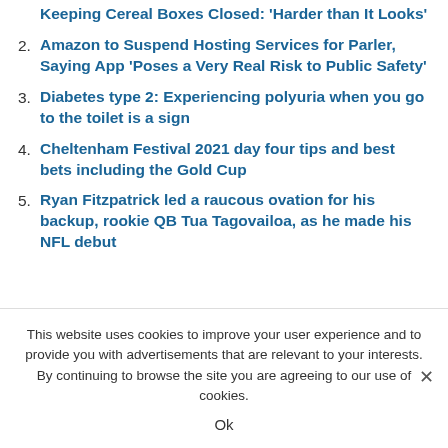Keeping Cereal Boxes Closed: 'Harder than It Looks'
Amazon to Suspend Hosting Services for Parler, Saying App 'Poses a Very Real Risk to Public Safety'
Diabetes type 2: Experiencing polyuria when you go to the toilet is a sign
Cheltenham Festival 2021 day four tips and best bets including the Gold Cup
Ryan Fitzpatrick led a raucous ovation for his backup, rookie QB Tua Tagovailoa, as he made his NFL debut
This website uses cookies to improve your user experience and to provide you with advertisements that are relevant to your interests. By continuing to browse the site you are agreeing to our use of cookies.
Ok